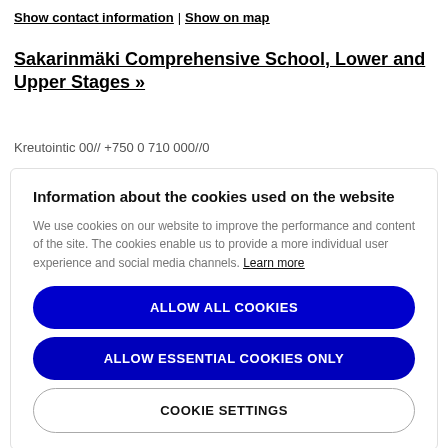Show contact information | Show on map
Sakarinmäki Comprehensive School, Lower and Upper Stages »
Kreutointic 00// +750 0 710 000//0
Information about the cookies used on the website
We use cookies on our website to improve the performance and content of the site. The cookies enable us to provide a more individual user experience and social media channels. Learn more
ALLOW ALL COOKIES
ALLOW ESSENTIAL COOKIES ONLY
COOKIE SETTINGS